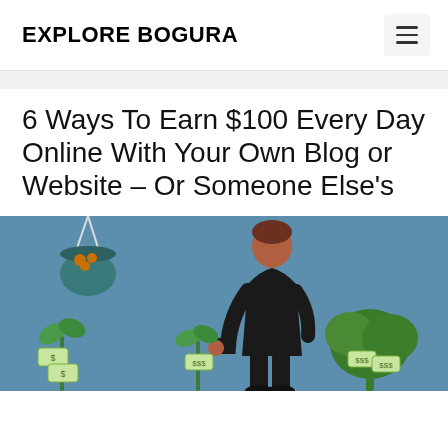EXPLORE BOGURA
6 Ways To Earn $100 Every Day Online With Your Own Blog or Website – Or Someone Else's
[Figure (illustration): Illustration of a person in a black suit bending forward, surrounded by plants with money/banknotes growing from them and a hanging pot with coins on the left, against a blue background.]